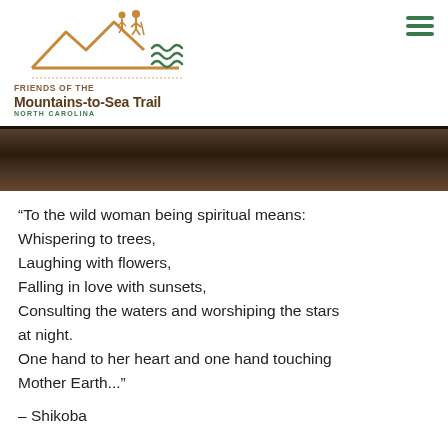[Figure (logo): Friends of the Mountains-to-Sea Trail North Carolina logo with mountain/hiker silhouette and wave motif]
[Figure (photo): Dark brown/earth tone nature photo strip — appears to be rock or bark texture]
“To the wild woman being spiritual means: Whispering to trees, Laughing with flowers, Falling in love with sunsets, Consulting the waters and worshiping the stars at night. One hand to her heart and one hand touching Mother Earth...”
– Shikoba